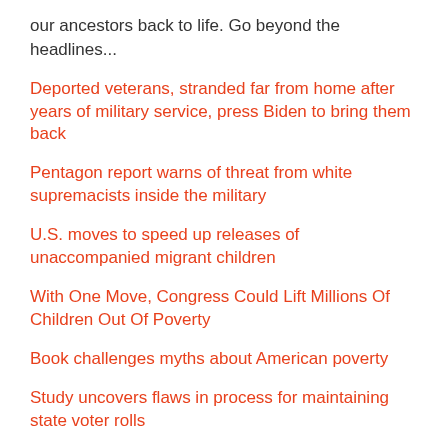our ancestors back to life. Go beyond the headlines...
Deported veterans, stranded far from home after years of military service, press Biden to bring them back
Pentagon report warns of threat from white supremacists inside the military
U.S. moves to speed up releases of unaccompanied migrant children
With One Move, Congress Could Lift Millions Of Children Out Of Poverty
Book challenges myths about American poverty
Study uncovers flaws in process for maintaining state voter rolls
How to Keep Up With MAGA's Reemergence: Resources to...